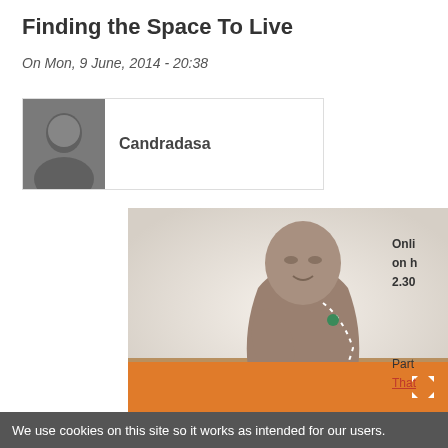Finding the Space To Live
On Mon, 9 June, 2014 - 20:38
Candradasa
[Figure (photo): Black and white portrait photo of Candradasa]
[Figure (photo): Bronze Buddha statue seated on a wooden surface]
Onli on h 2.30
Part That
In th that profo bring
This
We use cookies on this site so it works as intended for our users.